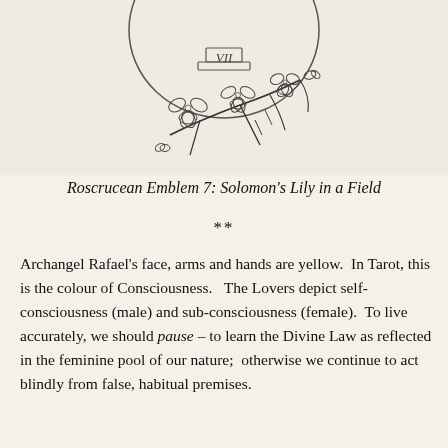[Figure (illustration): Partial view of a Rosicrucean emblem illustration showing a circular emblem with Roman numeral VII on a pedestal at top, and a branch of cherry blossoms with multiple flowers below.]
Roscrucean Emblem 7:  Solomon's Lily in a Field
**
Archangel Rafael's face, arms and hands are yellow.  In Tarot, this is the colour of Consciousness.   The Lovers depict self-consciousness (male) and sub-consciousness (female).  To live accurately, we should pause – to learn the Divine Law as reflected in the feminine pool of our nature;  otherwise we continue to act blindly from false, habitual premises.